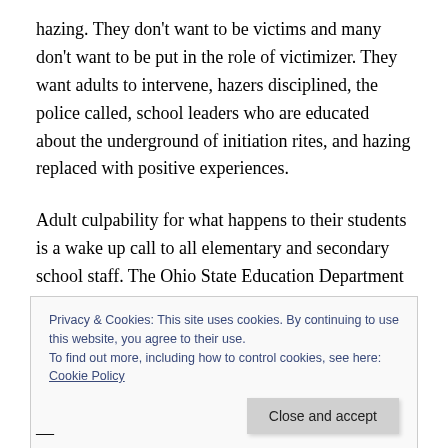hazing. They don't want to be victims and many don't want to be put in the role of victimizer. They want adults to intervene, hazers disciplined, the police called, school leaders who are educated about the underground of initiation rites, and hazing replaced with positive experiences.
Adult culpability for what happens to their students is a wake up call to all elementary and secondary school staff. The Ohio State Education Department takes this responsibility seriously. Their anti-hazing code warns that
Privacy & Cookies: This site uses cookies. By continuing to use this website, you agree to their use.
To find out more, including how to control cookies, see here: Cookie Policy
Close and accept